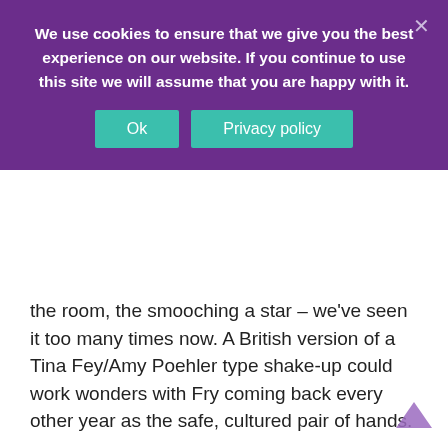We use cookies to ensure that we give you the best experience on our website. If you continue to use this site we will assume that you are happy with it.
the room, the smooching a star – we've seen it too many times now. A British version of a Tina Fey/Amy Poehler type shake-up could work wonders with Fry coming back every other year as the safe, cultured pair of hands.
7. Donald Trump owns Hollywood. For the past 3 months now, at the moment of victory he seems to be uppermost in the thoughts of most winners. Some would rather forget to thank parents, children and partners than not get a cheap jibe in at the President. It might have seemed new 3 months ago but having heard the 'outrage' now at every